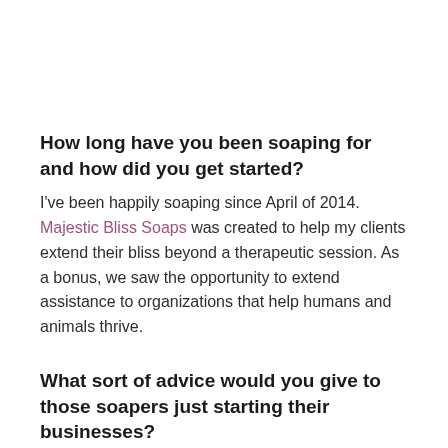How long have you been soaping for and how did you get started?
I've been happily soaping since April of 2014. Majestic Bliss Soaps was created to help my clients extend their bliss beyond a therapeutic session. As a bonus, we saw the opportunity to extend assistance to organizations that help humans and animals thrive.
What sort of advice would you give to those soapers just starting their businesses?
Research all legal requirements in your area for establishing a business—whether it's home-based or